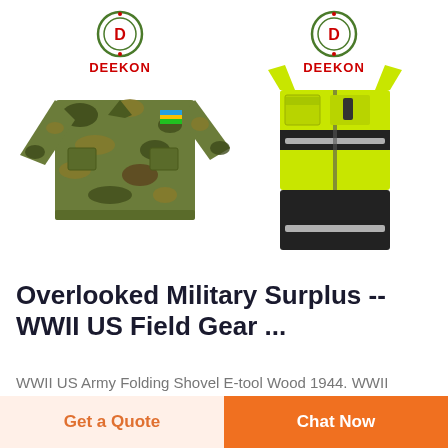[Figure (photo): Two product images side by side: left shows a camouflage military jacket with a DEEKON logo above it; right shows a high-visibility safety vest (yellow/black) with a DEEKON logo above it.]
Overlooked Military Surplus -- WWII US Field Gear ...
WWII US Army Folding Shovel E-tool Wood 1944. WWII
Get a Quote
Chat Now